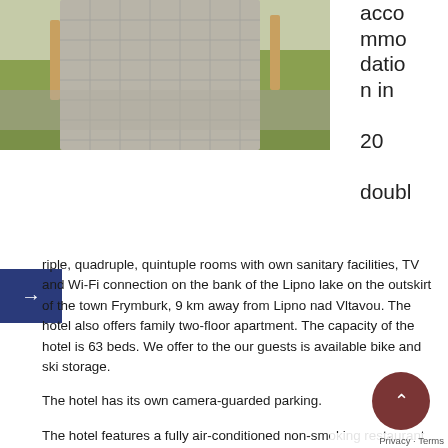[Figure (photo): Outdoor cobblestone path area with greenery, outdoor furniture/posts visible, sunny day]
accommodation in 20 doubl
riple, quadruple, quintuple rooms with own sanitary facilities, TV and Wi-Fi connection on the bank of the Lipno lake on the outskirt of the town Frymburk, 9 km away from Lipno nad Vltavou. The hotel also offers family two-floor apartment. The capacity of the hotel is 63 beds. We offer to the our guests is available bike and ski storage.
The hotel has its own camera-guarded parking.
The hotel features a fully air-conditioned non-smoking restaurant with an indoor capacity of 100 seats and an original terrace with 150 seats. Our traditional and caucasian cuisine will not disappoint any gourmets, or collectors of gastronomic experiences. Also, child playroom and an outdoor playground are available to visitors.
Pets are not allowed in the hotel.